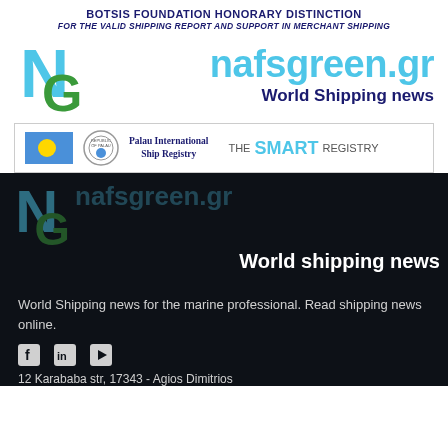BOTSIS FOUNDATION HONORARY DISTINCTION FOR THE VALID SHIPPING REPORT AND SUPPORT IN MERCHANT SHIPPING
[Figure (logo): nafsgreen.gr logo with NG monogram in light blue and green, site name in cyan, tagline World Shipping news in dark blue]
[Figure (logo): Palau International Ship Registry banner with Palau flag, seal, and THE SMART REGISTRY tagline]
[Figure (logo): Dark background version of nafsgreen.gr logo with World shipping news tagline]
World Shipping news for the marine professional. Read shipping news online.
12 Karababa str, 17343 - Agios Dimitrios